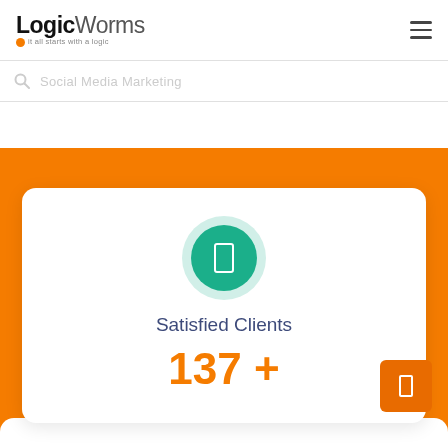[Figure (logo): LogicWorms logo with tagline 'it all starts with a logic' and orange dot]
Social Media Marketing
[Figure (infographic): White card on orange background showing a teal circle icon, 'Satisfied Clients' label, and the number '137 +']